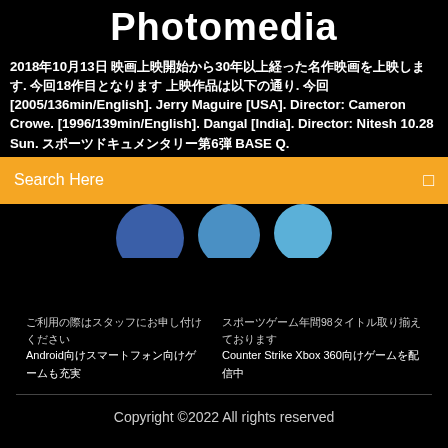Photomedia
2018年10月13日 映画上映開始から30年以上経った名作映画を上映します. 今回18作目となります 上映作品は以下の通り. 今回 [2005/136min/English]. Jerry Maguire [USA]. Director: Cameron Crowe. [1996/139min/English]. Dangal [India]. Director: Nitesh 10.28 Sun. スポーツドキュメンタリー第6弾 BASE Q.
Search Here
[Figure (illustration): Three overlapping blue circles of varying shades]
ご利用の際はスタッフにお申し付けください　　スポーツゲーム年間98タイトル取り揃えております
Androidスマートフォン向けゲームも充実　　Counter Strike Xbox 360向けゲームを配信中
Copyright ©2022 All rights reserved